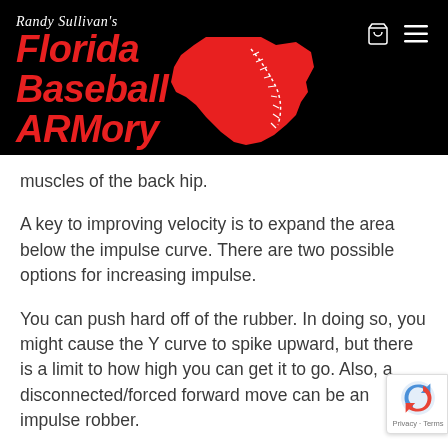[Figure (logo): Randy Sullivan's Florida Baseball ARMory logo with red Florida state silhouette on black background, with shopping cart and hamburger menu icons]
muscles of the back hip.
A key to improving velocity is to expand the area below the impulse curve. There are two possible options for increasing impulse.
You can push hard off of the rubber. In doing so, you might cause the Y curve to spike upward, but there is a limit to how high you can get it to go. Also, a disconnected/forced forward move can be an impulse robber.